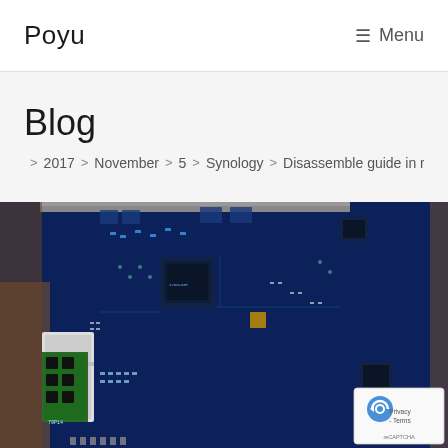Poyu   ☰ Menu
Blog
🏠 > 2017 > November > 5 > Synology > Disassemble guide in rep
[Figure (photo): Close-up photograph of a blue circuit board (PCB), likely a Synology NAS motherboard, showing electronic components including chips, capacitors, resistors, connectors, and a memory module slot. Also visible is an reCAPTCHA badge overlay in the bottom-right corner.]